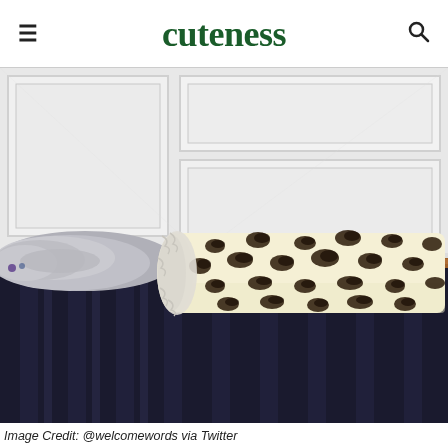cuteness
[Figure (photo): A cat inside a leopard-print cylindrical tunnel toy, perched on top of a curtain rod. The cat's fluffy grey fur is visible from one end while the cylindrical tube with black-and-cream animal print extends to the right. Below the rod hang dark curtains with a subtle stripe pattern. The background shows a white paneled door.]
Image Credit: @welcomewords via Twitter